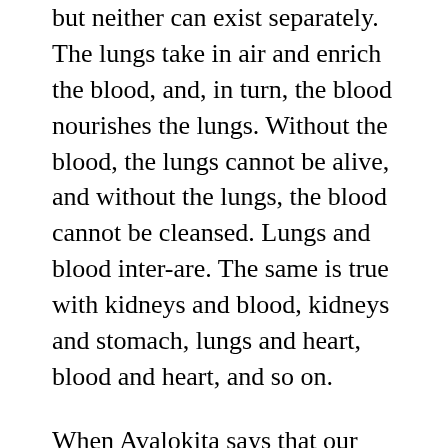but neither can exist separately. The lungs take in air and enrich the blood, and, in turn, the blood nourishes the lungs. Without the blood, the lungs cannot be alive, and without the lungs, the blood cannot be cleansed. Lungs and blood inter-are. The same is true with kidneys and blood, kidneys and stomach, lungs and heart, blood and heart, and so on.
When Avalokita says that our sheet of paper is empty, he means it is empty of a separate, independent existence. It cannot just be by itself. It has to inter-be with the sunshine, the cloud, the forest, the logger, the mind, and everything else. It is empty of a separate self. But, empty of a separate self means full of everything. So it seems that our observation and that of Avalokita do not contradict each other after all. Avalokita looked deeply into the five skandhas of form, feelings, perceptions, mental